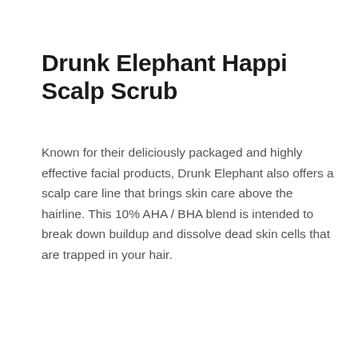Drunk Elephant Happi Scalp Scrub
Known for their deliciously packaged and highly effective facial products, Drunk Elephant also offers a scalp care line that brings skin care above the hairline. This 10% AHA / BHA blend is intended to break down buildup and dissolve dead skin cells that are trapped in your hair.